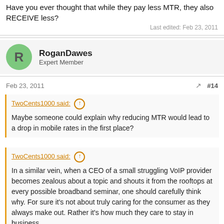Have you ever thought that while they pay less MTR, they also RECEIVE less?
Last edited: Feb 23, 2011
RoganDawes
Expert Member
Feb 23, 2011  #14
TwoCents1000 said: ↑
Maybe someone could explain why reducing MTR would lead to a drop in mobile rates in the first place?
TwoCents1000 said: ↑
In a similar vein, when a CEO of a small struggling VoIP provider becomes zealous about a topic and shouts it from the rooftops at every possible broadband seminar, one should carefully think why. For sure it's not about truly caring for the consumer as they always make out. Rather it's how much they care to stay in business.